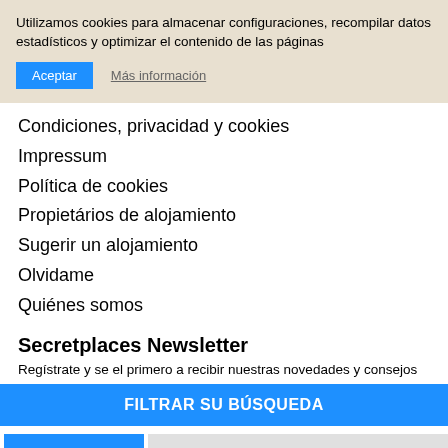Utilizamos cookies para almacenar configuraciones, recompilar datos estadísticos y optimizar el contenido de las páginas
Aceptar   Más información
Condiciones, privacidad y cookies
Impressum
Política de cookies
Propietários de alojamiento
Sugerir un alojamiento
Olvidame
Quiénes somos
Secretplaces Newsletter
Regístrate y se el primero a recibir nuestras novedades y consejos de viajes
FILTRAR SU BÚSQUEDA